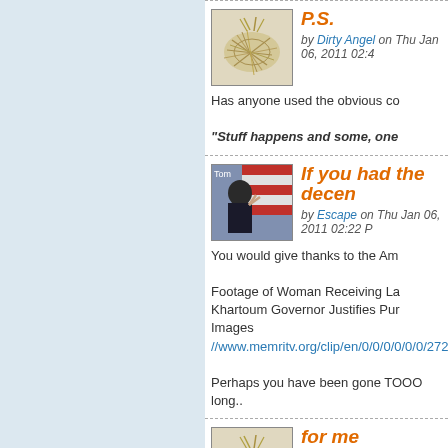[Figure (illustration): Tumbleweed/dry grass ball avatar image for user Dirty Angel]
P.S.
by Dirty Angel on Thu Jan 06, 2011 02:4
Has anyone used the obvious co
"Stuff happens and some, one
[Figure (photo): Photo of a person in dark uniform making a peace sign, with American flag in background, labeled Tommy]
If you had the decen
by Escape on Thu Jan 06, 2011 02:22 P
You would give thanks to the Am
Footage of Woman Receiving La
Khartoum Governor Justifies Pur
Images
//www.memritv.org/clip/en/0/0/0/0/0/0/2722.htm
Perhaps you have been gone TOOO long..
[Figure (illustration): Tumbleweed/dry grass ball avatar image for user Dirty Angel]
for me
by Dirty Angel on Thu Jan 06, 2011 02:
plain, off-white thermals, please,